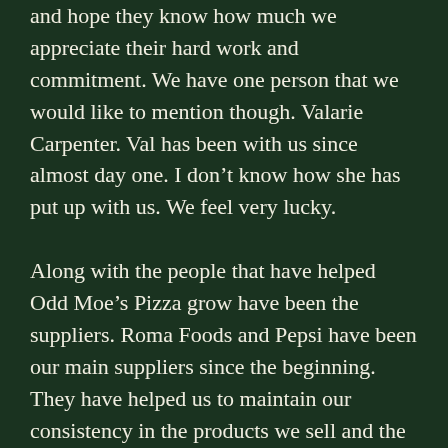and hope they know how much we appreciate their hard work and commitment. We have one person that we would like to mention though. Valarie Carpenter. Val has been with us since almost day one. I don't know how she has put up with us. We feel very lucky.

Along with the people that have helped Odd Moe's Pizza grow have been the suppliers. Roma Foods and Pepsi have been our main suppliers since the beginning. They have helped us to maintain our consistency in the products we sell and the service we strive for. We are looking forward to continuing this formula from here on out. West Coast Bank is another business that has been here